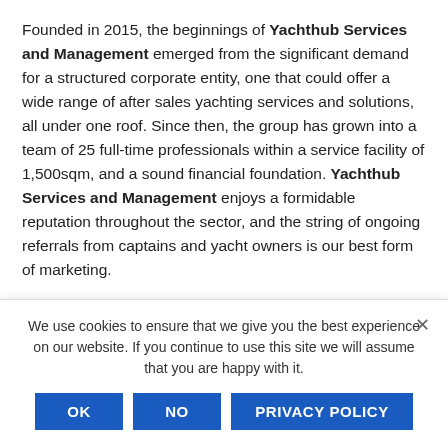Founded in 2015, the beginnings of Yachthub Services and Management emerged from the significant demand for a structured corporate entity, one that could offer a wide range of after sales yachting services and solutions, all under one roof. Since then, the group has grown into a team of 25 full-time professionals within a service facility of 1,500sqm, and a sound financial foundation. Yachthub Services and Management enjoys a formidable reputation throughout the sector, and the string of ongoing referrals from captains and yacht owners is our best form of marketing.
Led by its director, Antonio Borg, YachtHub Services and Management carries out maintenance and general services on behalf of manufacturers that are not represented through
We use cookies to ensure that we give you the best experience on our website. If you continue to use this site we will assume that you are happy with it.